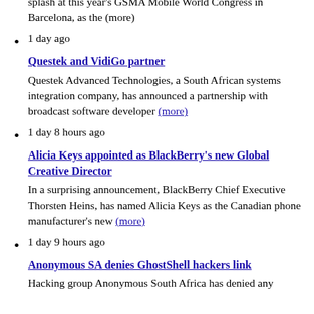splash at this year's GSMA Mobile World Congress in Barcelona, as the (more)
1 day ago
Questek and VidiGo partner
Questek Advanced Technologies, a South African systems integration company, has announced a partnership with broadcast software developer (more)
1 day 8 hours ago
Alicia Keys appointed as BlackBerry's new Global Creative Director
In a surprising announcement, BlackBerry Chief Executive Thorsten Heins, has named Alicia Keys as the Canadian phone manufacturer's new (more)
1 day 9 hours ago
Anonymous SA denies GhostShell hackers link
Hacking group Anonymous South Africa has denied any